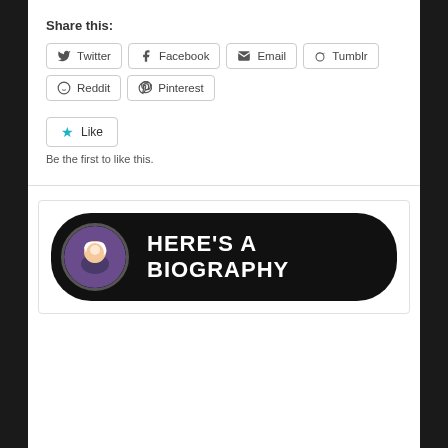Share this:
Twitter Facebook Email Tumblr Reddit Pinterest
[Figure (other): Like button with star icon and text 'Like']
Be the first to like this.
[Figure (other): Biography banner: black rounded rectangle with circular avatar photo on left and bold white text 'HERE'S A BIOGRAPHY' on right]